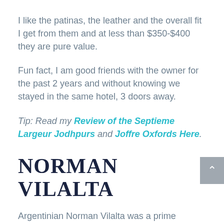I like the patinas, the leather and the overall fit I get from them and at less than $350-$400 they are pure value.
Fun fact, I am good friends with the owner for the past 2 years and without knowing we stayed in the same hotel, 3 doors away.
Tip: Read my Review of the Septieme Largeur Jodhpurs and Joffre Oxfords Here.
NORMAN VILALTA
Argentinian Norman Vilalta was a prime inspiration for me and his circa...